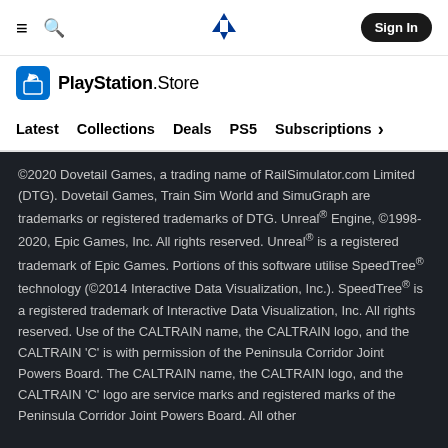PlayStation Store navigation: hamburger menu, search, PlayStation logo, Sign In button
[Figure (logo): PlayStation Store logo with shopping bag icon]
Navigation menu: Latest, Collections, Deals, PS5, Subscriptions >
©2020 Dovetail Games, a trading name of RailSimulator.com Limited (DTG). Dovetail Games, Train Sim World and SimuGraph are trademarks or registered trademarks of DTG. Unreal® Engine, ©1998-2020, Epic Games, Inc. All rights reserved. Unreal® is a registered trademark of Epic Games. Portions of this software utilise SpeedTree® technology (©2014 Interactive Data Visualization, Inc.). SpeedTree® is a registered trademark of Interactive Data Visualization, Inc. All rights reserved. Use of the CALTRAIN name, the CALTRAIN logo, and the CALTRAIN 'C' is with permission of the Peninsula Corridor Joint Powers Board. The CALTRAIN name, the CALTRAIN logo, and the CALTRAIN 'C' logo are service marks and registered marks of the Peninsula Corridor Joint Powers Board. All other